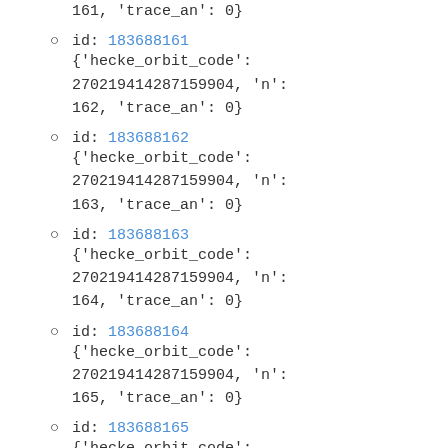161, 'trace_an': 0}
id: 183688161 {'hecke_orbit_code': 270219414287159904, 'n': 162, 'trace_an': 0}
id: 183688162 {'hecke_orbit_code': 270219414287159904, 'n': 163, 'trace_an': 0}
id: 183688163 {'hecke_orbit_code': 270219414287159904, 'n': 164, 'trace_an': 0}
id: 183688164 {'hecke_orbit_code': 270219414287159904, 'n': 165, 'trace_an': 0}
id: 183688165 {'hecke_orbit_code': 270219414287159904, 'n': 166, 'trace_an': 0}